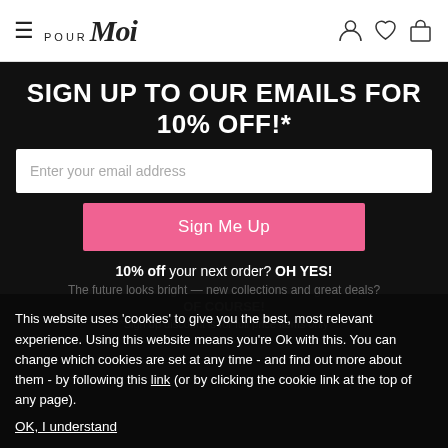Pour Moi — navigation bar with hamburger menu, logo, and icons (account, wishlist, bag)
SIGN UP TO OUR EMAILS FOR 10% OFF!*
Enter your email address
Sign Me Up
10% off your next order? OH YES!
The future looks bright — new collections and great deals?
OF COURSE!
*Sign up discount is for full price items only
This website uses 'cookies' to give you the best, most relevant experience. Using this website means you're Ok with this. You can change which cookies are set at any time - and find out more about them - by following this link (or by clicking the cookie link at the top of any page).
OK, I understand